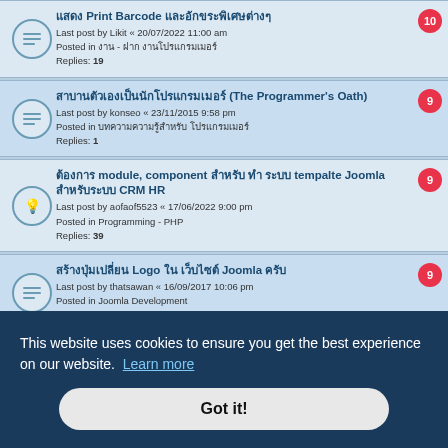แสดง Print Barcode และอักขระพิเศษต่างๆ
Last post by Likit « 20/07/2022 11:00 am
Posted in งาน - ฝาก งานโปรแกรมเมอร์
Replies: 19
สาบานตัวเองเป็นนักโปรแกรมเมอร์ (The Programmer's Oath)
Last post by konseo « 23/11/2015 9:58 pm
Posted in บทความความรู้สำหรับ โปรแกรมเมอร์
Replies: 1
ต้องการ module, component สำหรับ ทำ ระบบ tempalte Joomla สำหรับระบบ CRM HR
Last post by aofaof5523 « 17/06/2022 9:00 pm
Posted in Programming - PHP
Replies: 39
สร้างปุ่มเปลี่ยน Logo ใน เว็บไซต์ Joomla ครับ
Last post by thatsawan « 16/09/2017 10:06 pm
Posted in Joomla Development
Replies: 5
ต้องการเครื่องซักผ้า Hitachi ต้องการคนที่จะเป็นตัวแทนจำหน่าย ครับ
This website uses cookies to ensure you get the best experience on our website. Learn more
Got it!